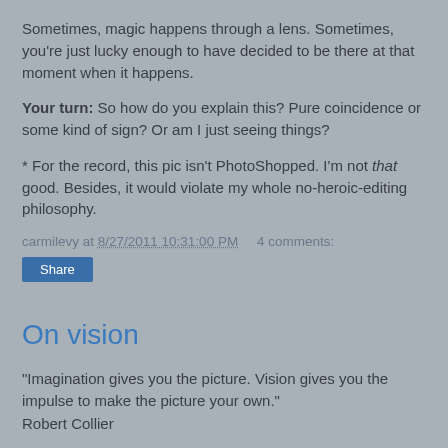Sometimes, magic happens through a lens. Sometimes, you're just lucky enough to have decided to be there at that moment when it happens.
Your turn: So how do you explain this? Pure coincidence or some kind of sign? Or am I just seeing things?
* For the record, this pic isn't PhotoShopped. I'm not that good. Besides, it would violate my whole no-heroic-editing philosophy.
carmilevy at 8/27/2011 10:31:00 PM    4 comments:
On vision
"Imagination gives you the picture. Vision gives you the impulse to make the picture your own."
Robert Collier